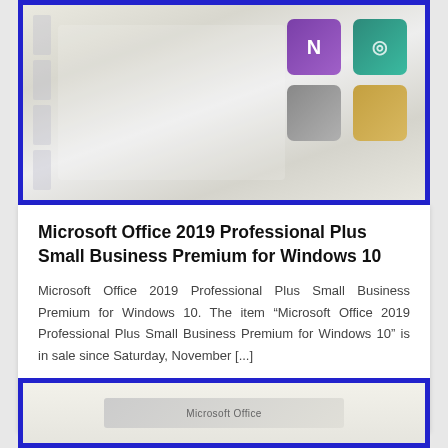[Figure (photo): Product image of Microsoft Office 2019 Professional Plus with blue border, showing software icons including purple OneNote and teal icon]
Microsoft Office 2019 Professional Plus Small Business Premium for Windows 10
Microsoft Office 2019 Professional Plus Small Business Premium for Windows 10. The item “Microsoft Office 2019 Professional Plus Small Business Premium for Windows 10” is in sale since Saturday, November [...]
Read more
[Figure (photo): Product image of another Microsoft Office product with blue border, showing a box packaging on light background]